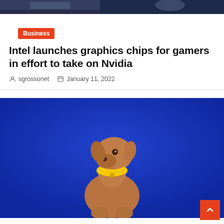[Figure (photo): Top portion of a video/TV broadcast scene with dark background]
Business
Intel launches graphics chips for gamers in effort to take on Nvidia
sgrossonet   January 11, 2022
[Figure (photo): A brown Vizsla puppy with a yellow collar sitting against a bright blue background, looking upward]